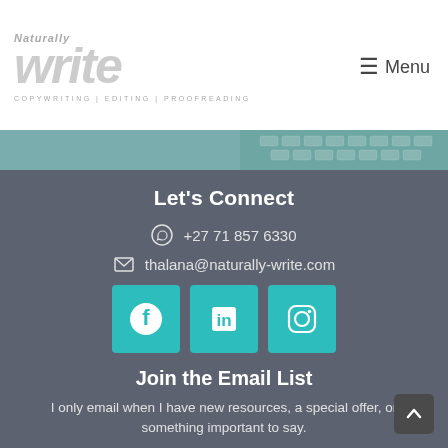[Figure (logo): Naturally Write logo with text 'Naturally write' and tagline 'COPYWRITING | EDITING | PROOFREADING']
≡ Menu
[Figure (photo): Teal banner with keyboard image on the right side]
Let's Connect
+27 71 857 6330
thalana@naturally-write.com
[Figure (infographic): Three teal square social media buttons: Facebook, LinkedIn, Instagram]
Join the Email List
I only email when I have new resources, a special offer, or something important to say.
Email